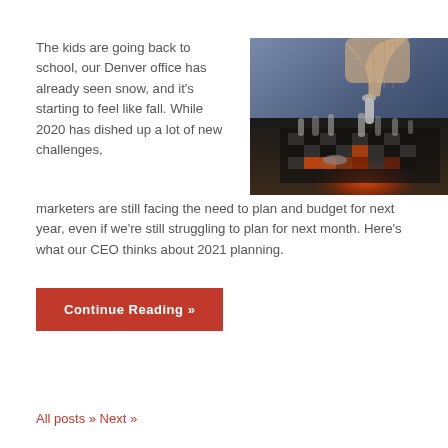The kids are going back to school, our Denver office has already seen snow, and it's starting to feel like fall. While 2020 has dished up a lot of new challenges, marketers are still facing the need to plan and budget for next year, even if we're still struggling to plan for next month. Here's what our CEO thinks about 2021 planning.
[Figure (photo): Close-up photo of a person's hand moving a chess piece on a chess board, with dramatic red/orange lighting on some pieces]
Continue Reading »
All posts » Next »